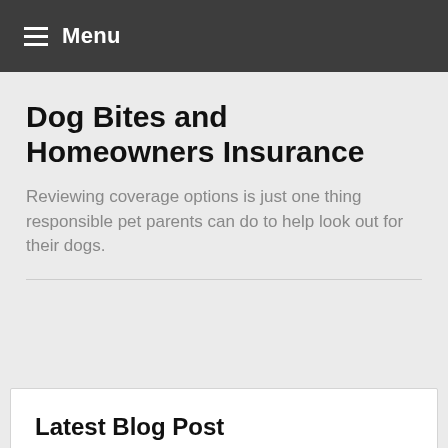Menu
Dog Bites and Homeowners Insurance
Reviewing coverage options is just one thing responsible pet parents can do to help look out for their dogs.
Latest Blog Post
January 11, 2021 - Markets Start 2021 on a High